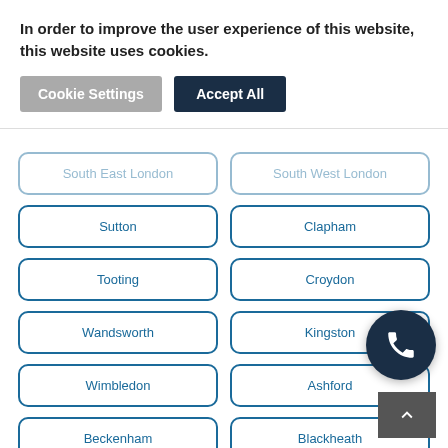In order to improve the user experience of this website, this website uses cookies.
Cookie Settings
Accept All
South East London
South West London
Sutton
Clapham
Tooting
Croydon
Wandsworth
Kingston
Wimbledon
Ashford
Beckenham
Blackheath
Earlsfield
Peckham